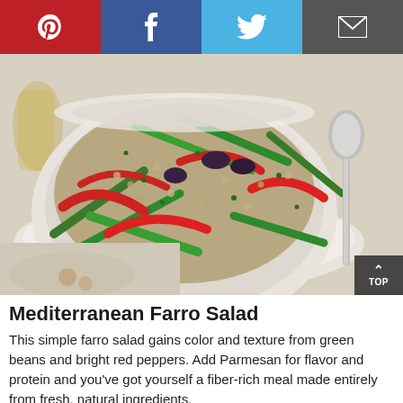[Figure (other): Social sharing buttons bar: Pinterest (red), Facebook (dark blue), Twitter (light blue), Email (dark grey)]
[Figure (photo): A white bowl filled with Mediterranean farro salad containing green beans, red peppers, olives, and grains, with a spoon beside it on a white plate]
Mediterranean Farro Salad
This simple farro salad gains color and texture from green beans and bright red peppers. Add Parmesan for flavor and protein and you've got yourself a fiber-rich meal made entirely from fresh, natural ingredients.